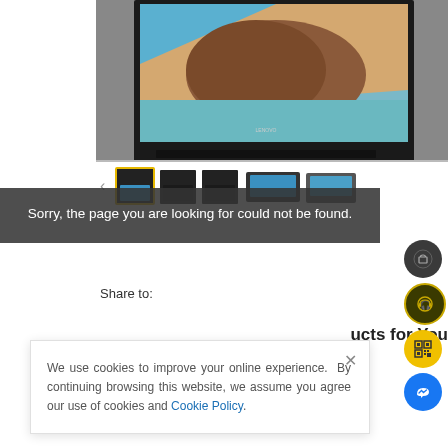[Figure (photo): Product photo of a tablet in a black case/stand, showing a beach aerial photo on the screen, partially cropped at top]
[Figure (photo): Thumbnail strip showing 4-5 small product images of the same tablet case from different angles]
Sorry, the page you are looking for could not be found.
Share to:
ucts for You
We use cookies to improve your online experience. By continuing browsing this website, we assume you agree our use of cookies and Cookie Policy.